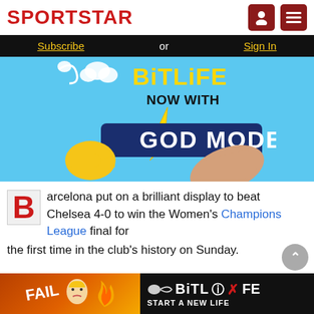SPORTSTAR
[Figure (logo): Sportstar logo in red bold text with user and hamburger menu icons on the right]
Subscribe or Sign In
[Figure (illustration): BitLife 'NOW WITH GOD MODE' advertisement banner with cartoon hands pointing and lightning bolt graphics on blue background]
Barcelona put on a brilliant display to beat Chelsea 4-0 to win the Women's Champions League final for the first time in the club's history on Sunday.
[Figure (illustration): BitLife 'START A NEW LIFE' advertisement banner with cartoon fail girl and fire graphics]